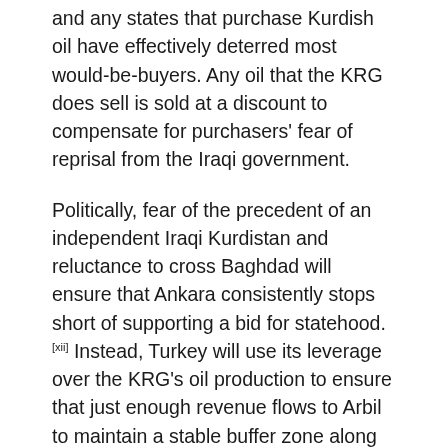and any states that purchase Kurdish oil have effectively deterred most would-be-buyers. Any oil that the KRG does sell is sold at a discount to compensate for purchasers' fear of reprisal from the Iraqi government.
Politically, fear of the precedent of an independent Iraqi Kurdistan and reluctance to cross Baghdad will ensure that Ankara consistently stops short of supporting a bid for statehood.[xii] Instead, Turkey will use its leverage over the KRG's oil production to ensure that just enough revenue flows to Arbil to maintain a stable buffer zone along the Turkish border while actively discouraging any moves towards independence.[xiii]
Oil prices hovering below $30 per barrel exacerbate already stunted revenues, burgeoning oil contract payments, a bloated government payroll, and continued conflict with Baghdad, leaving the KRG in a steadily worsening budget crisis. Growing financial pressure has